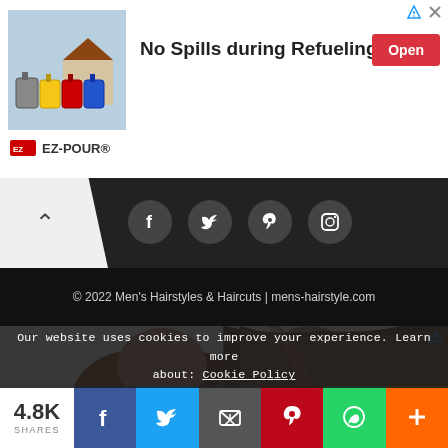[Figure (screenshot): Advertisement banner: EZ-POUR product image with colorful fuel cans, text 'No Spills during Refueling', red Open button, EZ-POUR brand name, and ad corner icons]
[Figure (screenshot): Navigation bar with back arrow and social media circles: Facebook, Twitter, Pinterest, Instagram on dark background]
© 2022 Men's Hairstyles & Haircuts | mens-hairstyle.com
[Figure (photo): Before and after comparison of women's hair: left side showing wavy/frizzy auburn hair, right side showing smooth straight brown hair, separated by a vertical line]
Our website uses cookies to improve your experience. Learn more about: Cookie Policy
[Figure (screenshot): Social share bar with 4.8K SHARES count, Facebook, Twitter, Email, Pinterest, WhatsApp, and plus buttons in their brand colors]